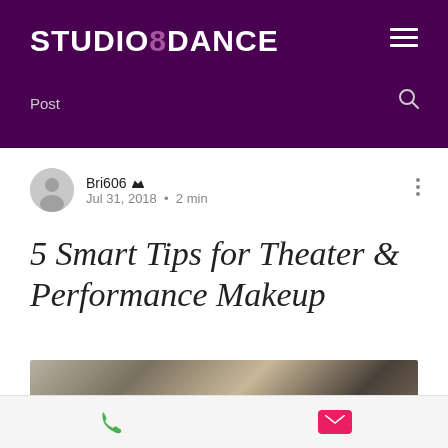STUDIO8DANCE
Post
Bri606  Jul 31, 2018 • 2 min
5 Smart Tips for Theater & Performance Makeup
[Figure (photo): Blurred close-up photo of a face with performance makeup, dark and warm tones]
[Figure (infographic): Bottom bar with phone icon (green) and email icon (pink/red envelope)]